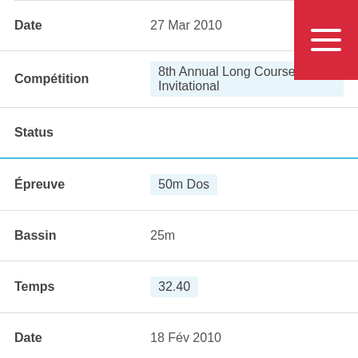| Field | Value |
| --- | --- |
| Date | 27 Mar 2010 |
| Compétition | 8th Annual Long Course Invitational |
| Status |  |
| Épreuve | 50m Dos |
| Bassin | 25m |
| Temps | 32.40 |
| Date | 18 Fév 2010 |
| Compétition | Western Canadian Championships |